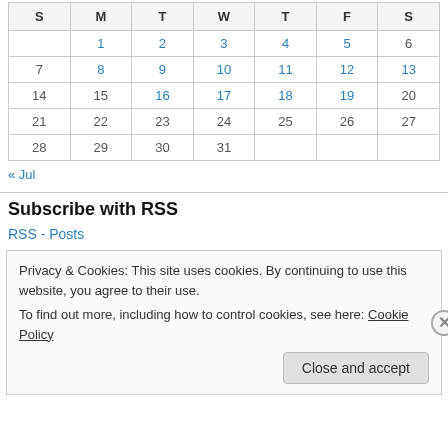| S | M | T | W | T | F | S |
| --- | --- | --- | --- | --- | --- | --- |
|  | 1 | 2 | 3 | 4 | 5 | 6 |
| 7 | 8 | 9 | 10 | 11 | 12 | 13 |
| 14 | 15 | 16 | 17 | 18 | 19 | 20 |
| 21 | 22 | 23 | 24 | 25 | 26 | 27 |
| 28 | 29 | 30 | 31 |  |  |  |
« Jul
Subscribe with RSS
RSS - Posts
Privacy & Cookies: This site uses cookies. By continuing to use this website, you agree to their use.
To find out more, including how to control cookies, see here: Cookie Policy
Close and accept